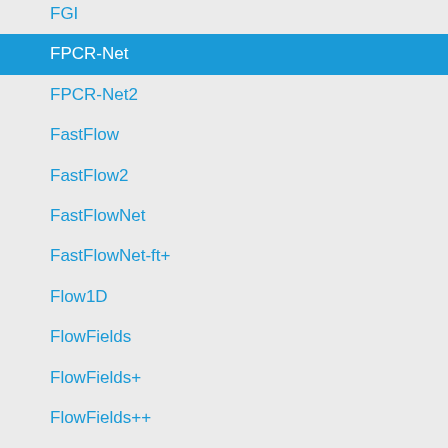FGI
FPCR-Net
FPCR-Net2
FastFlow
FastFlow2
FastFlowNet
FastFlowNet-ft+
Flow1D
FlowFields
FlowFields+
FlowFields++
FlowFieldsCNN
FlowFormer
FlowNet2
FlowNet2-ft-sintel
FlowNetADF
FlowNetC+OFR
FlowNetC+ft+v
FlowNetC-MD